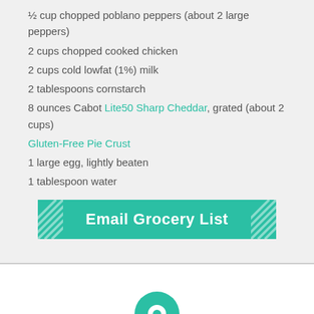½ cup chopped poblano peppers (about 2 large peppers)
2 cups chopped cooked chicken
2 cups cold lowfat (1%) milk
2 tablespoons cornstarch
8 ounces Cabot Lite50 Sharp Cheddar, grated (about 2 cups)
Gluten-Free Pie Crust
1 large egg, lightly beaten
1 tablespoon water
[Figure (other): Email Grocery List button — teal rectangle with white bold text and diagonal hatch pattern on left and right ends]
[Figure (other): Map location pin icon in teal color]